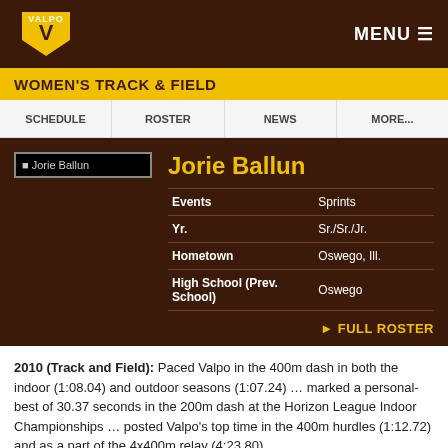VALPO — WOMEN'S TRACK & FIELD
Jorie Ballun
| Field | Value |
| --- | --- |
| Events | Sprints |
| Yr. | Sr./Sr./Jr. |
| Hometown | Oswego, Ill. |
| High School (Prev. School) | Oswego |
FULL ROSTER
2010 (Track and Field): Paced Valpo in the 400m dash in both the indoor (1:08.04) and outdoor seasons (1:07.24) … marked a personal-best of 30.37 seconds in the 200m dash at the Horizon League Indoor Championships … posted Valpo's top time in the 400m hurdles (1:12.72) and as a part of the 4x400m relay (4:23.80)